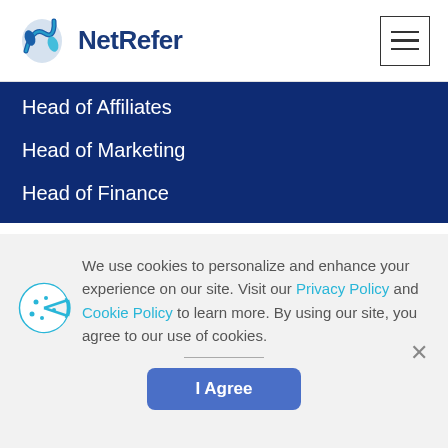NetRefer
Head of Affiliates
Head of Marketing
Head of Finance
We use cookies to personalize and enhance your experience on our site. Visit our Privacy Policy and Cookie Policy to learn more. By using our site, you agree to our use of cookies.